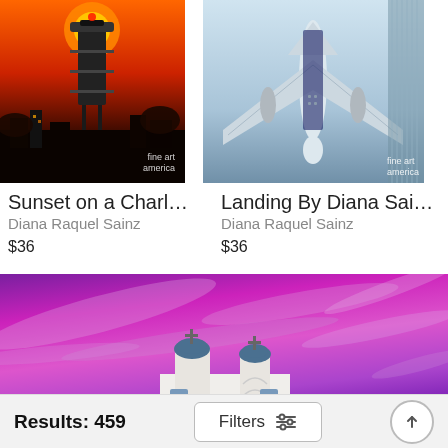[Figure (photo): Sunset cityscape photo showing a water tower structure against a deep red and orange sunset sky, with city buildings and trees below. Fine Art America watermark visible.]
[Figure (photo): Photo taken from below of a large commercial airplane landing or flying overhead against a light blue sky. Fine Art America watermark visible.]
Sunset on a Charlott...
Diana Raquel Sainz
$36
Landing By Diana Sainz Print
Diana Raquel Sainz
$36
[Figure (photo): Wide-angle photo of a white mission-style church with a blue dome and cross, set against a dramatic vivid pink and purple sunset sky with wispy clouds.]
Results: 459
Filters
[Figure (other): Filters icon with horizontal sliders]